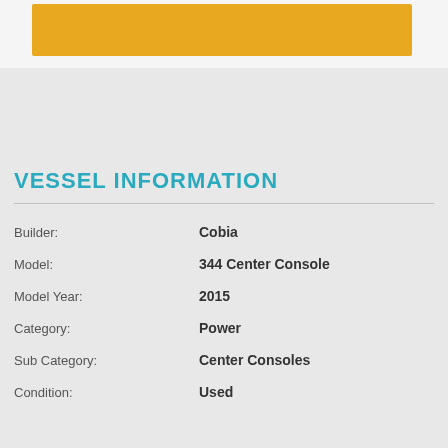[Figure (other): Gold/amber colored bar at top of page]
VESSEL INFORMATION
| Field | Value |
| --- | --- |
| Builder: | Cobia |
| Model: | 344 Center Console |
| Model Year: | 2015 |
| Category: | Power |
| Sub Category: | Center Consoles |
| Condition: | Used |